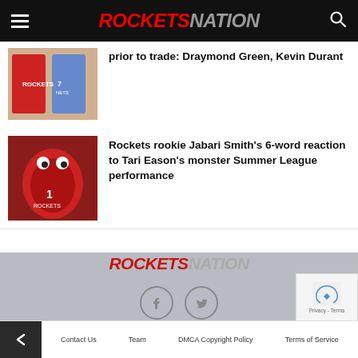ROCKETSNATION
[Figure (photo): Thumbnail image of basketball players in Rockets and Nets jerseys]
prior to trade: Draymond Green, Kevin Durant
[Figure (photo): Thumbnail image of Rockets players on court with animated eyes overlay]
Rockets rookie Jabari Smith's 6-word reaction to Tari Eason's monster Summer League performance
[Figure (logo): RocketsNation logo in footer]
Contact Us  Team  DMCA Copyright Policy  Terms of Service